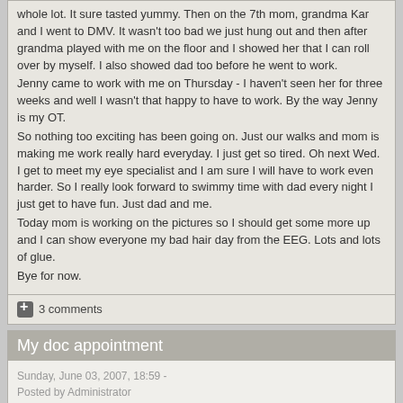whole lot. It sure tasted yummy. Then on the 7th mom, grandma Kar and I went to DMV. It wasn't too bad we just hung out and then after grandma played with me on the floor and I showed her that I can roll over by myself. I also showed dad too before he went to work.
Jenny came to work with me on Thursday - I haven't seen her for three weeks and well I wasn't that happy to have to work. By the way Jenny is my OT.
So nothing too exciting has been going on. Just our walks and mom is making me work really hard everyday. I just get so tired. Oh next Wed. I get to meet my eye specialist and I am sure I will have to work even harder. So I really look forward to swimmy time with dad every night I just get to have fun. Just dad and me.
Today mom is working on the pictures so I should get some more up and I can show everyone my bad hair day from the EEG. Lots and lots of glue.
Bye for now.
3 comments
My doc appointment
Sunday, June 03, 2007, 18:59 -
Posted by Administrator
Well the car ride was not too bad to the cities. Daddy sat in the back with me. I was tired because mommy had to get me up at 5 AM but I didn't sleep. Daddy was tired too he put my diaper on a little crooked and I got poop on my bloomers and in the car seat. It wasn't;t too bad.  We got to the neurology clinic and I had to get 20 wires glued to my head. It wasn't that bad but I was not to fond of the rubbing of the glue they put on my head. I had to look a strobe light blinking at different times. That was fun. The guy that gave me the test was nice mom, dad, and he talked while they were monitoring my brain. I looked funny when they took